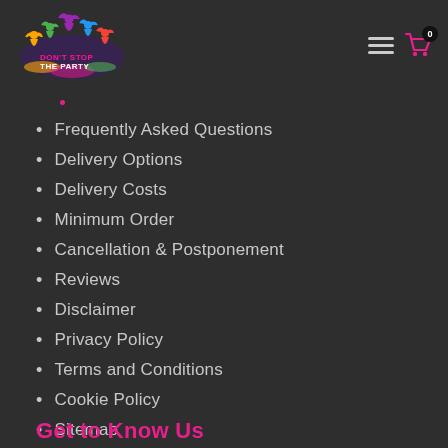[Figure (logo): Don't Stop The Party logo with colorful party figures and splash]
Frequently Asked Questions
Delivery Options
Delivery Costs
Minimum Order
Cancellation & Postponement
Reviews
Disclaimer
Privacy Policy
Terms and Conditions
Cookie Policy
Sitemap
Get to Know Us